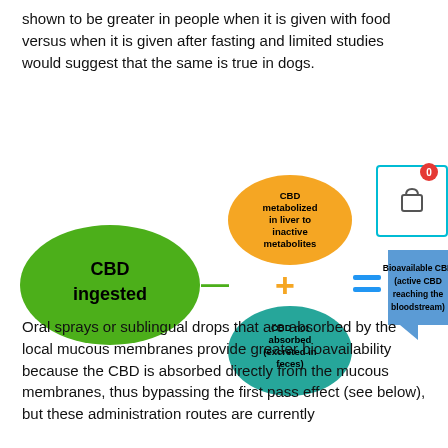shown to be greater in people when it is given with food versus when it is given after fasting and limited studies would suggest that the same is true in dogs.
[Figure (infographic): Diagram showing: CBD ingested (green oval) minus CBD metabolized in liver to inactive metabolites (orange oval) plus CBD not absorbed (excreted in feces) (teal oval) equals Bioavailable CBD (active CBD reaching the bloodstream) (blue speech bubble shape). Operators shown as colored symbols: minus (green dash), plus (orange plus), equals (blue double dash).]
Oral sprays or sublingual drops that are absorbed by the local mucous membranes provide greater bioavailability because the CBD is absorbed directly from the mucous membranes, thus bypassing the first pass effect (see below), but these administration routes are currently